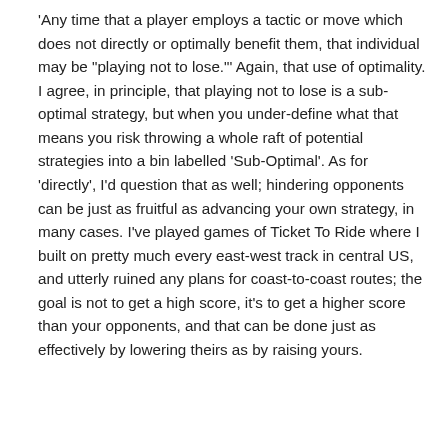'Any time that a player employs a tactic or move which does not directly or optimally benefit them, that individual may be "playing not to lose."' Again, that use of optimality. I agree, in principle, that playing not to lose is a sub-optimal strategy, but when you under-define what that means you risk throwing a whole raft of potential strategies into a bin labelled 'Sub-Optimal'. As for 'directly', I'd question that as well; hindering opponents can be just as fruitful as advancing your own strategy, in many cases. I've played games of Ticket To Ride where I built on pretty much every east-west track in central US, and utterly ruined any plans for coast-to-coast routes; the goal is not to get a high score, it's to get a higher score than your opponents, and that can be done just as effectively by lowering theirs as by raising yours.